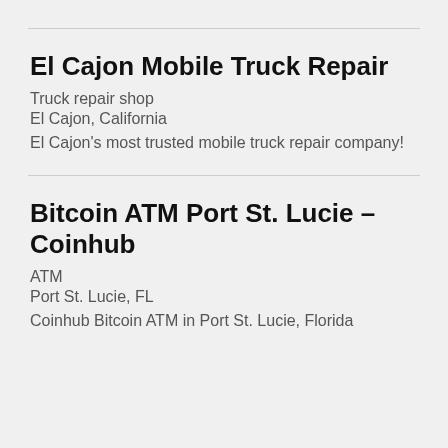El Cajon Mobile Truck Repair
Truck repair shop
El Cajon, California
El Cajon's most trusted mobile truck repair company!
Bitcoin ATM Port St. Lucie – Coinhub
ATM
Port St. Lucie, FL
Coinhub Bitcoin ATM in Port St. Lucie, Florida